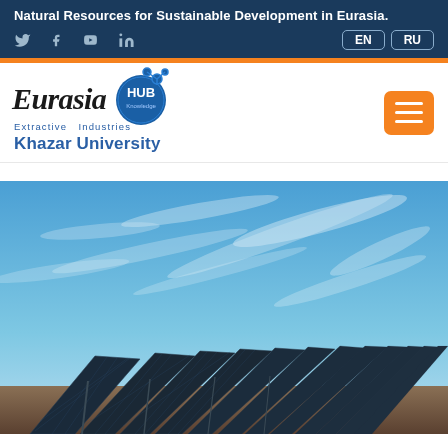Natural Resources for Sustainable Development in Eurasia.
[Figure (logo): Eurasia Extractive Industries Knowledge HUB - Khazar University logo with circular HUB emblem]
[Figure (photo): Solar panel farm under blue sky with wispy clouds, rows of photovoltaic panels stretching into the distance]